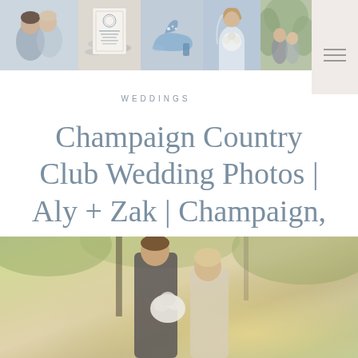[Figure (photo): Header photo collage strip showing wedding photos: couple kissing, wedding invitation, wedding shoes, bride with bouquet, outdoor portrait. Hamburger menu icon in top right corner on beige background.]
WEDDINGS
Champaign Country Club Wedding Photos | Aly + Zak | Champaign, IL Wedding Photographer
[Figure (photo): Wedding couple photo outdoors, groom in dark suit with bride holding white bouquet, soft warm golden-hour light with green foliage background.]